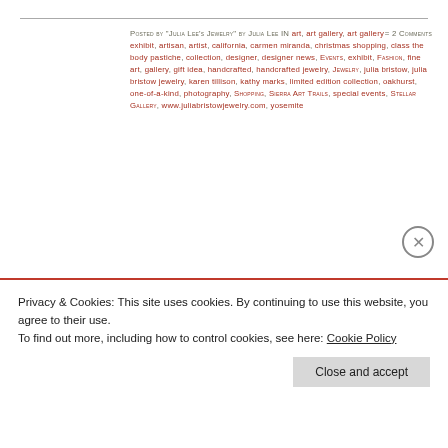Posted by "Julia Lee's Jewelry" by Julia Lee in art, art gallery, art gallery exhibit, artisan, artist, california, carmen miranda, christmas shopping, class the body pastiche, collection, designer, designer news, Events, exhibit, Fashion, fine art, gallery, gift idea, handcrafted, handcrafted jewelry, Jewelry, julia bristow, julia bristow jewelry, karen tillison, kathy marks, limited edition collection, oakhurst, one-of-a-kind, photography, Shopping, Sierra Art Trails, special events, Stellar Gallery, www.juliabristowjewelry.com, yosemite  = 2 Comments
Only one week away – Sierra Art Trails 2016!  Julia Bristow Jewelry will be exhibiting at Class, The Body Pastiche Studio
Privacy & Cookies: This site uses cookies. By continuing to use this website, you agree to their use. To find out more, including how to control cookies, see here: Cookie Policy
Close and accept